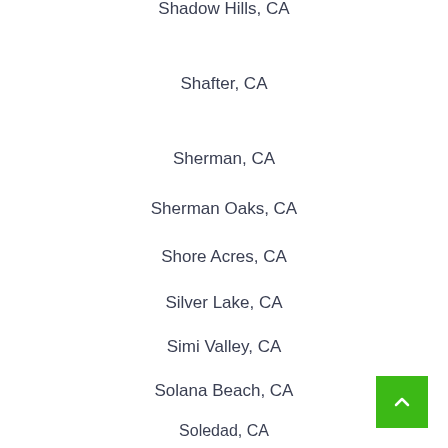Shadow Hills, CA
Shafter, CA
Sherman, CA
Sherman Oaks, CA
Shore Acres, CA
Silver Lake, CA
Simi Valley, CA
Solana Beach, CA
Soledad, CA
South El Monte, CA